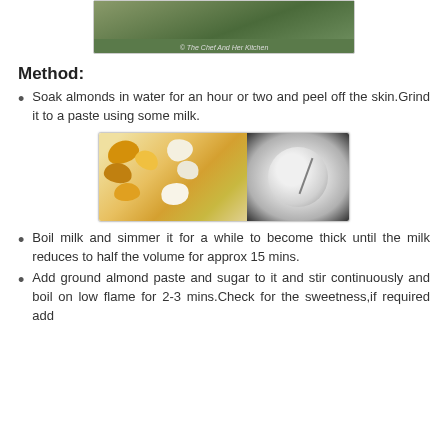[Figure (photo): Top portion of a food photo showing green background with watermark text '© The Chef And Her Kitchen']
Method:
Soak almonds in water for an hour or two and peel off the skin.Grind it to a paste using some milk.
[Figure (photo): Two food photos side by side: left shows soaked almonds with peeled skins on white surface, right shows almond milk paste in a steel bowl with a stirrer]
Boil milk and simmer it for a while to become thick until the milk reduces to half the volume for approx 15 mins.
Add ground almond paste and sugar to it and stir continuously and boil on low flame for 2-3 mins.Check for the sweetness,if required add more sugar.